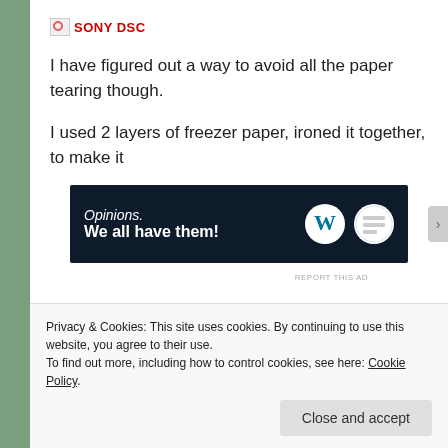[Figure (logo): Broken image icon followed by SONY DSC text in red]
I have figured out a way to avoid all the paper tearing though.
I used 2 layers of freezer paper, ironed it together, to make it
[Figure (screenshot): Advertisement banner with dark navy background. Text reads 'Opinions. We all have them!' with WordPress logo and a round logo on the right.]
REPORT THIS AD
stronger and not so water absorbent. Then I ran it through
Privacy & Cookies: This site uses cookies. By continuing to use this website, you agree to their use.
To find out more, including how to control cookies, see here: Cookie Policy